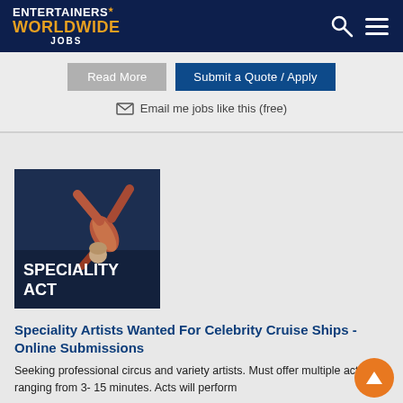ENTERTAINERS WORLDWIDE JOBS
Read More | Submit a Quote / Apply
Email me jobs like this (free)
[Figure (photo): Circus acrobat in colourful striped costume doing a handstand, overlaid with bold white text reading SPECIALITY ACT on a dark blue background]
Speciality Artists Wanted For Celebrity Cruise Ships - Online Submissions
Seeking professional circus and variety artists. Must offer multiple acts ranging from 3-15 minutes. Acts will perform